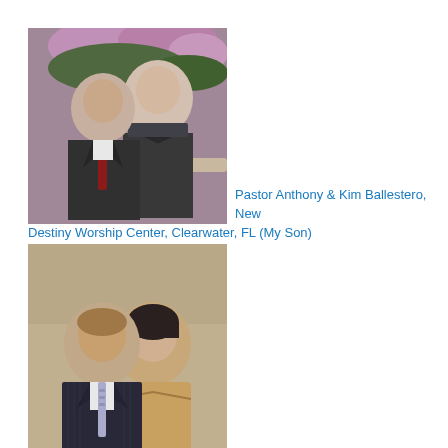[Figure (photo): Couple portrait outdoors with pink flowers in background. Man in dark suit with red tie, woman in black jacket.]
Pastor Anthony & Kim Ballestero, New Destiny Worship Center, Clearwater, FL (My Son)
[Figure (photo): Couple portrait indoors against neutral background. Man in dark pinstripe suit with grey tie, woman in tan/camel wrap.]
Pastor Bryan & Christy Ballestero, Temple Of Pentecost, Raleigh, NC (My Son)